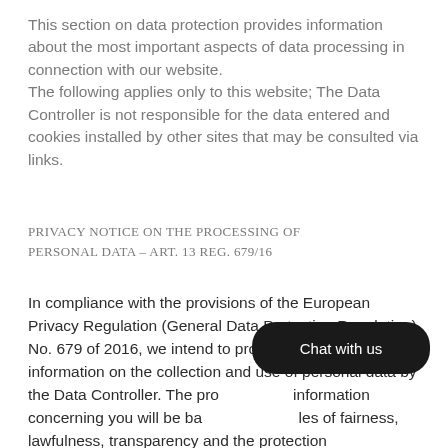This section on data protection provides information about the most important aspects of data processing in connection with our website.
The following applies only to this website; The Data Controller is not responsible for the data entered and cookies installed by other sites that may be consulted via links.
PRIVACY NOTICE ON THE PROCESSING OF PERSONAL DATA – ART. 13 REG. 679/16
In compliance with the provisions of the European Privacy Regulation (General Data Protection Regulation) No. 679 of 2016, we intend to provide you with some information on the collection and use of personal data by the Data Controller. The processing of information concerning you will be based on principles of fairness, lawfulness, transparency and the protection